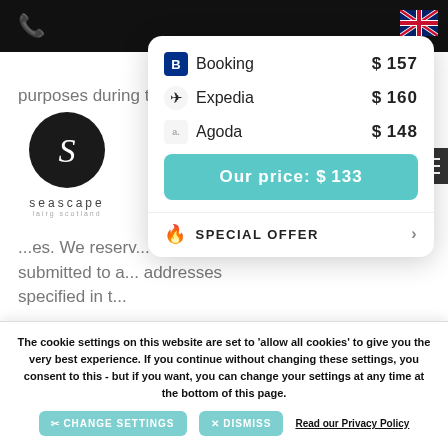[Figure (screenshot): Black top navigation bar with phone icon and UK flag icon in top right]
[Figure (logo): Seascape hotel logo - circular black emblem with stylized S, text 'seascape' below]
purposes during the m... ye...ong with the na...
...es. We reserv... requests submitted to a... addresses specified in t...
How You Can Access, C... Personal Data
If you would like to review, correct, update, suppress, restrict or delete Personal Data that you have previously provided to us, or if you would like to receive an electronic copy of your Personal Data for
[Figure (infographic): Rate comparison popup showing: Booking $157, Expedia $160, Agoda $148, Our price: $133, with SPECIAL OFFER button]
RateParity
The cookie settings on this website are set to 'allow all cookies' to give you the very best experience. If you continue without changing these settings, you consent to this - but if you want, you can change your settings at any time at the bottom of this page.
✂ CHANGE SETTINGS
✕ DISMISS
Read our Privacy Policy